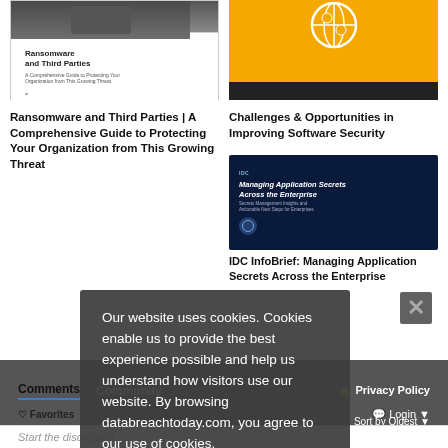[Figure (illustration): Book cover for 'Ransomware and Third Parties: A Comprehensive Guide to Protecting Your Organization from This Growing Threat']
Ransomware and Third Parties | A Comprehensive Guide to Protecting Your Organization from This Growing Threat
[Figure (illustration): Book cover for 'Challenges & Opportunities in Improving Software Security' with yellow/orange background and globe icon]
Challenges & Opportunities in Improving Software Security
[Figure (illustration): IDC InfoBrief cover: 'Managing Application Secrets Across the Enterprise' with dark blue background]
IDC InfoBrief: Managing Application Secrets Across the Enterprise
Our website uses cookies. Cookies enable us to provide the best experience possible and help us understand how visitors use our website. By browsing databreachtoday.com, you agree to our use of cookies.
Comments   Community
🔒 Privacy Policy
Login
Sort by Oldest
Favorites
Start the discussion...